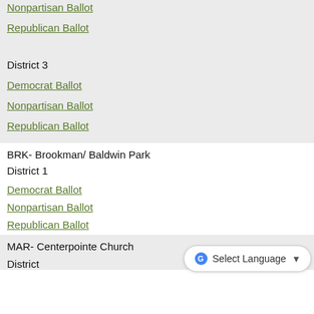Nonpartisan Ballot
Republican Ballot
District 3
Democrat Ballot
Nonpartisan Ballot
Republican Ballot
BRK- Brookman/ Baldwin Park
District 1
Democrat Ballot
Nonpartisan Ballot
Republican Ballot
MAR- Centerpointe Church
District